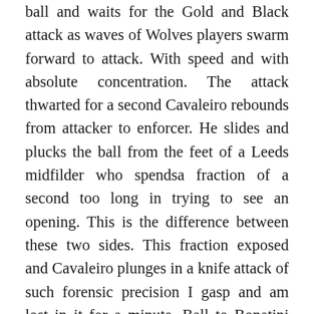ball and waits for the Gold and Black attack as waves of Wolves players swarm forward to attack. With speed and with absolute concentration. The attack thwarted for a second Cavaleiro rebounds from attacker to enforcer. He slides and plucks the ball from the feet of a Leeds midfilder who spendsa fraction of a second too long in trying to see an opening. This is the difference between these two sides. This fraction exposed and Cavaleiro plunges in a knife attack of such forensic precision I gasp and am lost in it for a minute. Ball to Bonatini and the swarm attacks again, Jota now the little Wolf ghosts around the center circle like a wind. He collects. Cavaleiro collects, boom the passing has it's own rhythm and the importance of the collection of the ball